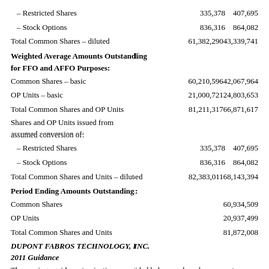|  | Col1 | Col2 |
| --- | --- | --- |
| – Restricted Shares | 335,378 | 407,695 |
| – Stock Options | 836,316 | 864,082 |
| Total Common Shares – diluted | 61,382,290 | 43,339,741 |
| Weighted Average Amounts Outstanding for FFO and AFFO Purposes: |  |  |
| Common Shares – basic | 60,210,596 | 42,067,964 |
| OP Units – basic | 21,000,721 | 24,803,653 |
| Total Common Shares and OP Units | 81,211,317 | 66,871,617 |
| Shares and OP Units issued from assumed conversion of: |  |  |
| – Restricted Shares | 335,378 | 407,695 |
| – Stock Options | 836,316 | 864,082 |
| Total Common Shares and Units – diluted | 82,383,011 | 68,143,394 |
| Period Ending Amounts Outstanding: |  |  |
| Common Shares | 60,934,509 |  |
| OP Units | 20,937,499 |  |
| Total Common Shares and Units | 81,872,008 |  |
DUPONT FABROS TECHNOLOGY, INC.
2011 Guidance
The earnings guidance/projections provided below are based on current expectati